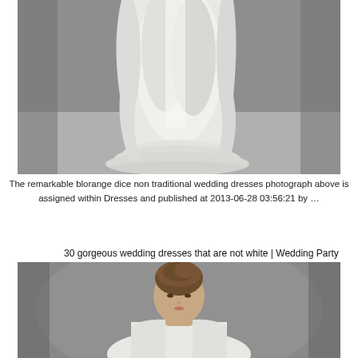[Figure (photo): Close-up photo of the lower portion of a white flowing wedding dress on a gray floor, showing the draped fabric and hem pooling on the ground.]
The remarkable blorange dice non traditional wedding dresses photograph above is assigned within Dresses and published at 2013-06-28 03:56:21 by …
30 gorgeous wedding dresses that are not white | Wedding Party
[Figure (photo): Portrait photo of a young woman with upswept brown hair wearing a light-colored wedding dress, photographed against a gray background, upper body visible.]